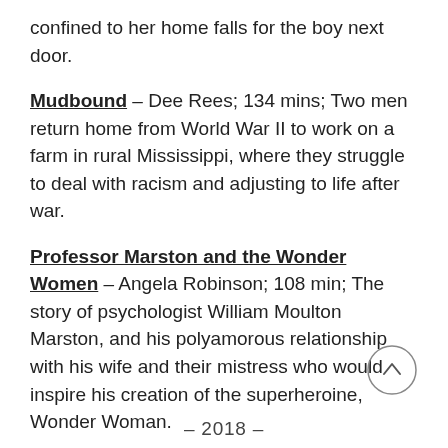confined to her home falls for the boy next door.
Mudbound – Dee Rees; 134 mins; Two men return home from World War II to work on a farm in rural Mississippi, where they struggle to deal with racism and adjusting to life after war.
Professor Marston and the Wonder Women – Angela Robinson; 108 min; The story of psychologist William Moulton Marston, and his polyamorous relationship with his wife and their mistress who would inspire his creation of the superheroine, Wonder Woman.
– 2018 –